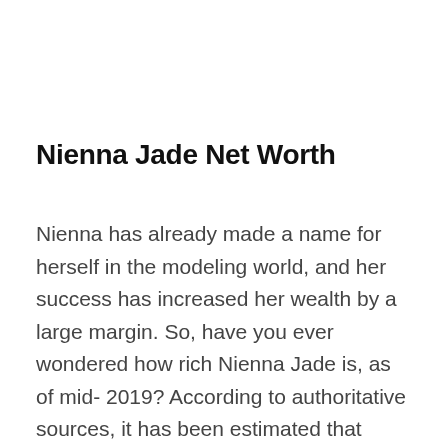Nienna Jade Net Worth
Nienna has already made a name for herself in the modeling world, and her success has increased her wealth by a large margin. So, have you ever wondered how rich Nienna Jade is, as of mid- 2019? According to authoritative sources, it has been estimated that Jade’s net worth is as high as $1 million, which is quite impressive, don’t you agree? Undoubtedly, Nienna’s net worth will increase in the